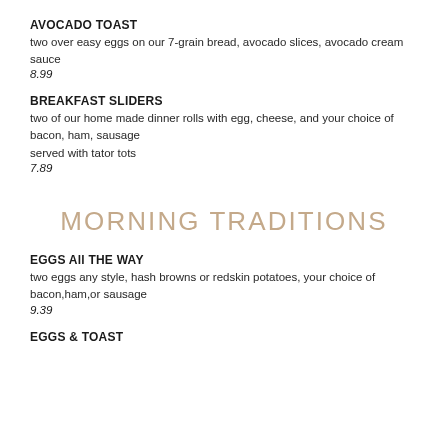AVOCADO TOAST
two over easy eggs on our 7-grain bread, avocado slices, avocado cream sauce
8.99
BREAKFAST SLIDERS
two of our home made dinner rolls with egg, cheese, and your choice of bacon, ham, sausage
served with tator tots
7.89
MORNING TRADITIONS
EGGS All THE WAY
two eggs any style, hash browns or redskin potatoes, your choice of bacon,ham,or sausage
9.39
EGGS & TOAST